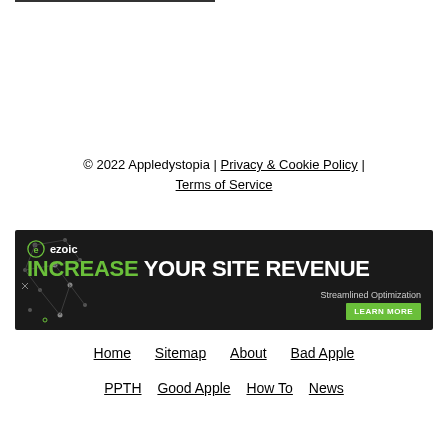© 2022 Appledystopia | Privacy & Cookie Policy | Terms of Service
[Figure (infographic): Ezoic banner advertisement: dark background with network dot pattern on left, Ezoic logo top left, large text 'INCREASE YOUR SITE REVENUE' with INCREASE in green and rest in white, subtitle 'Streamlined Optimization', green 'LEARN MORE' button bottom right]
Home   Sitemap   About   Bad Apple
PPTH   Good Apple   How To   News